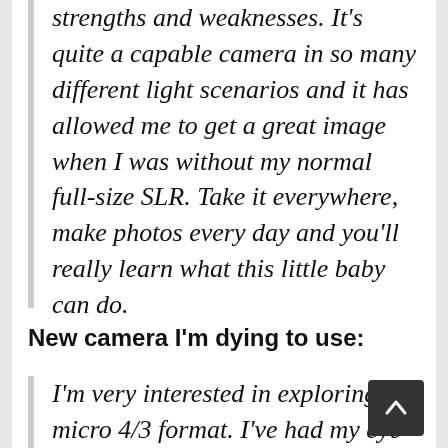strengths and weaknesses. It's quite a capable camera in so many different light scenarios and it has allowed me to get a great image when I was without my normal full-size SLR. Take it everywhere, make photos every day and you'll really learn what this little baby can do.
New camera I'm dying to use:
I'm very interested in exploring the micro 4/3 format. I've had my eye on the Panasonic Lumix GF1 for some time now. I love the idea of having a quality imagemaker in